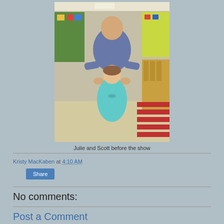[Figure (photo): A man and a young girl in a teal/turquoise dress posing together in what appears to be a school hallway with lockers and bulletin boards in the background.]
Julie and Scott before the show
Kristy MacKaben at 4:10 AM
Share
No comments:
Post a Comment